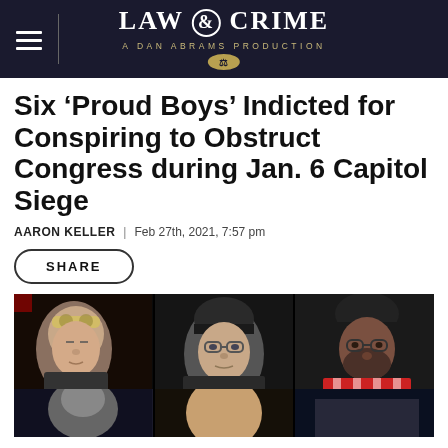LAW & CRIME — A DAN ABRAMS PRODUCTION
Six ‘Proud Boys’ Indicted for Conspiring to Obstruct Congress during Jan. 6 Capitol Siege
AARON KELLER | Feb 27th, 2021, 7:57 pm
SHARE
[Figure (photo): Three mugshot/identification photos of men, with two more photos partially visible below, all on a black background. Left: young white male with yellow-tinted goggles on forehead. Center: older white male with dark cap and glasses. Right: Black male with black beanie and glasses, wearing a red and white patterned scarf.]